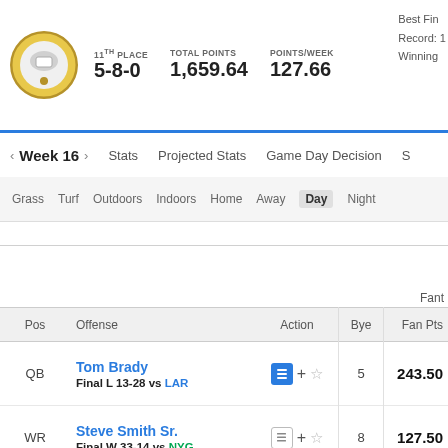11TH PLACE 5-8-0   TOTAL POINTS 1,659.64   POINTS/WEEK 127.66
Best Fin
Record: 1
Winning
< Week 16 >   Stats   Projected Stats   Game Day Decision   S
Grass   Turf   Outdoors   Indoors   Home   Away   Day   Night
Fant
| Pos | Offense | Action | Bye | Fan Pts |
| --- | --- | --- | --- | --- |
| QB | Tom Brady
Final L 13-28 vs LAR | +☆ | 5 | 243.50 |
| WR | Steve Smith Sr.
Final W 33-14 vs NYG | +☆ | 8 | 127.50 |
| WR | Anquan Boldin
Final L 10-24 @ Mia | +☆ | 8 | 78.00 |
| WR | Miles Austin
Final L 20-27 vs Was | +☆ | 7 | 85.10 |